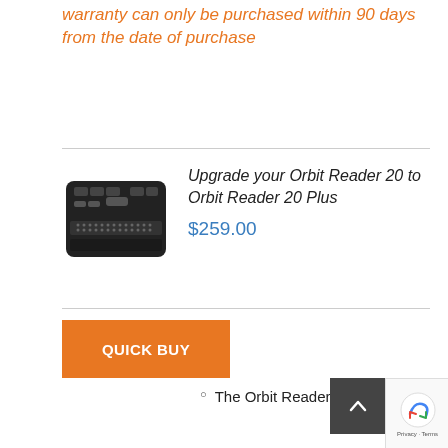warranty can only be purchased within 90 days from the date of purchase
[Figure (photo): Orbit Reader 20 device — a black rectangular braille display with buttons and braille cell pins]
Upgrade your Orbit Reader 20 to Orbit Reader 20 Plus
$259.00
QUICK BUY
The Orbit Reader 20 Plus